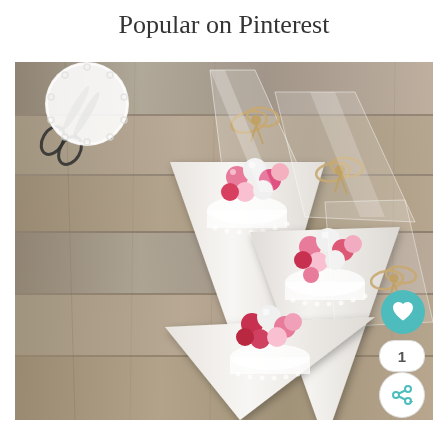Popular on Pinterest
[Figure (photo): Three white paper cones decorated with lace doilies, filled with pink, red, and white candies/chocolates, wrapped in clear cellophane bags tied with rustic twine bows, arranged on a weathered grey wooden surface. Vintage scissors and a white lace doily are visible in the top left corner.]